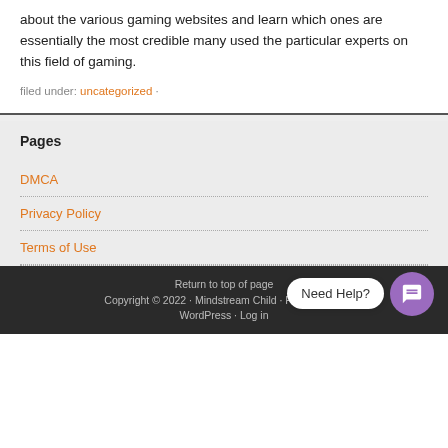about the various gaming websites and learn which ones are essentially the most credible many used the particular experts on this field of gaming.
filed under: uncategorized ·
Pages
DMCA
Privacy Policy
Terms of Use
Return to top of page · Copyright © 2022 · Mindstream Child · Framework · WordPress · Log in